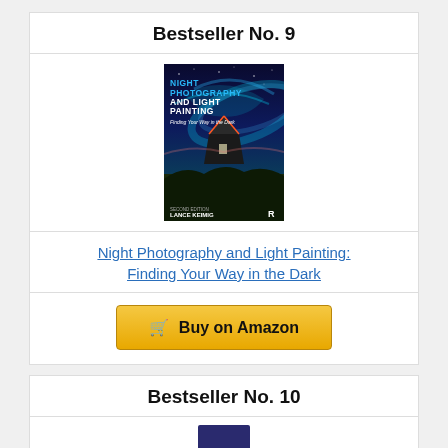Bestseller No. 9
[Figure (photo): Book cover of Night Photography and Light Painting: Finding Your Way in the Dark by Lance Keimig, Second Edition. Shows aurora borealis over a triangular rooftop structure against a dark blue night sky.]
Night Photography and Light Painting: Finding Your Way in the Dark
Buy on Amazon
Bestseller No. 10